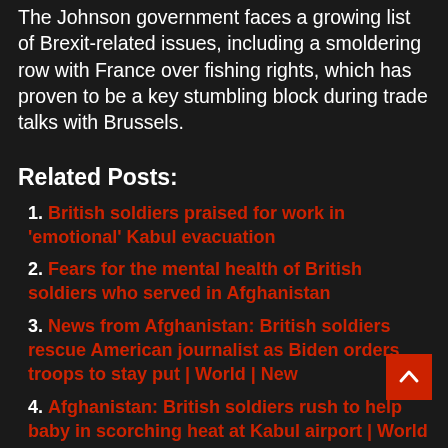The Johnson government faces a growing list of Brexit-related issues, including a smoldering row with France over fishing rights, which has proven to be a key stumbling block during trade talks with Brussels.
Related Posts:
1. British soldiers praised for work in 'emotional' Kabul evacuation
2. Fears for the mental health of British soldiers who served in Afghanistan
3. News from Afghanistan: British soldiers rescue American journalist as Biden orders troops to stay put | World | New
4. Afghanistan: British soldiers rush to help baby in scorching heat at Kabul airport | World